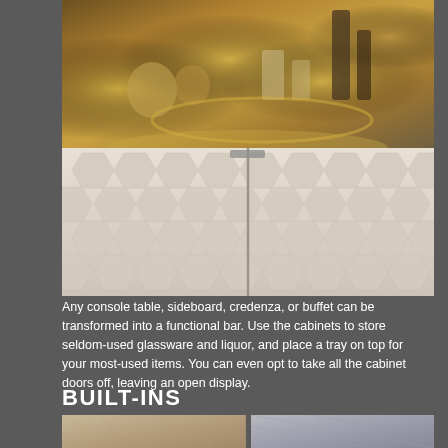[Figure (photo): Overhead bar tray setup with gold/brass glassware, candles, bottles, and bar tools on a white surface]
[Figure (photo): Close-up of a white sideboard/cabinet with a honeycomb/hexagonal 3D pattern on its door fronts, with gold hardware handles visible at the top]
Any console table, sideboard, credenza, or buffet can be transformed into a functional bar. Use the cabinets to store seldom-used glassware and liquor, and place a tray on top for your most-used items. You can even opt to take all the cabinet doors off, leaving an open display.
BUILT-INS
[Figure (photo): Two side-by-side photos partially visible at the bottom: left shows a textured neutral wallpaper or fabric, right shows a light grey paneled or geometric surface]